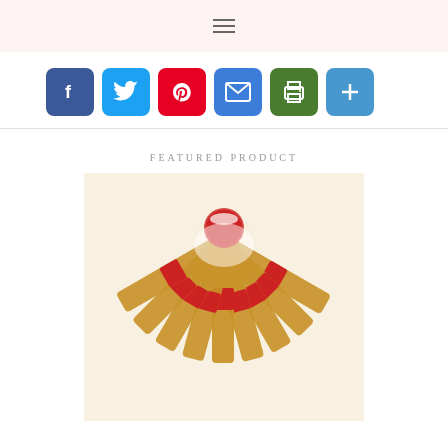☰
[Figure (other): Social share buttons: Facebook, Twitter, Pinterest, Email, Print, More]
FEATURED PRODUCT
[Figure (photo): Beeswax candles tied with red ribbon arranged in a fan/wreath shape on white background]